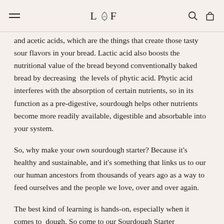L ✿ F
and acetic acids, which are the things that create those tasty sour flavors in your bread. Lactic acid also boosts the nutritional value of the bread beyond conventionally baked bread by decreasing  the levels of phytic acid. Phytic acid interferes with the absorption of certain nutrients, so in its function as a pre-digestive, sourdough helps other nutrients become more readily available, digestible and absorbable into your system.
So, why make your own sourdough starter? Because it's healthy and sustainable, and it's something that links us to our our human ancestors from thousands of years ago as a way to feed ourselves and the people we love, over and over again.
The best kind of learning is hands-on, especially when it comes to  dough. So come to our Sourdough Starter